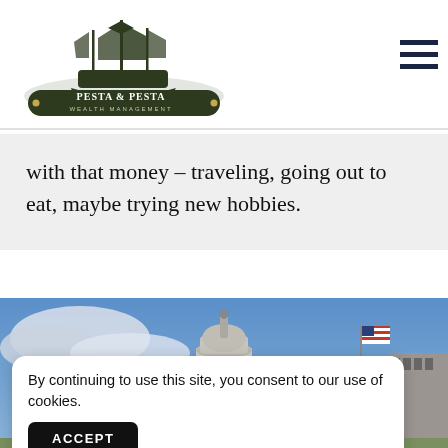[Figure (logo): Pesta & Pesta Wealth Management logo with sailing ship illustration and banner with company name]
with that money – traveling, going out to eat, maybe trying new hobbies.
[Figure (photo): Photo of the US Capitol building dome with American flag against cloudy blue sky]
By continuing to use this site, you consent to our use of cookies.
ACCEPT